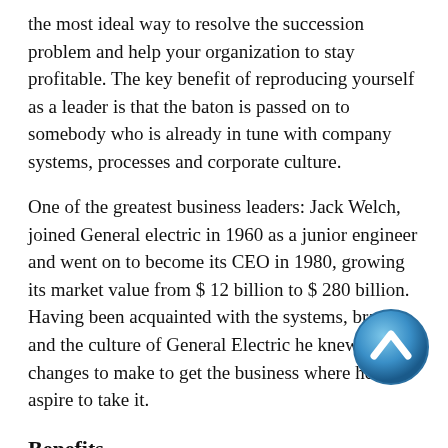the most ideal way to resolve the succession problem and help your organization to stay profitable. The key benefit of reproducing yourself as a leader is that the baton is passed on to somebody who is already in tune with company systems, processes and corporate culture.
One of the greatest business leaders: Jack Welch, joined General electric in 1960 as a junior engineer and went on to become its CEO in 1980, growing its market value from $ 12 billion to $ 280 billion. Having been acquainted with the systems, brands and the culture of General Electric he knew which changes to make to get the business where he aspire to take it.
Benefits